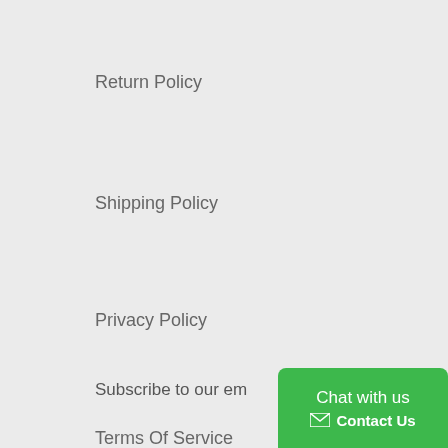Return Policy
Shipping Policy
Privacy Policy
Terms Of Service
Get in touch
Any question please feel free to email us at classygown@outlook.com
Subscribe to our em
[Figure (other): Chat with us / Contact Us green button overlay in bottom right corner]